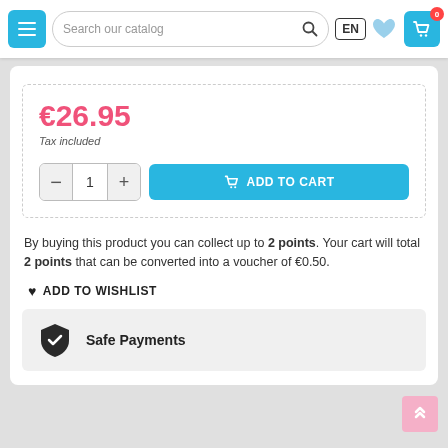[Figure (screenshot): E-commerce website header with hamburger menu button (blue), search bar 'Search our catalog', language selector 'EN', wishlist heart icon, and shopping cart icon with badge showing 0]
€26.95
Tax included
[Figure (screenshot): Quantity selector with minus button, value 1, plus button, and blue Add to Cart button with cart icon]
By buying this product you can collect up to 2 points. Your cart will total 2 points that can be converted into a voucher of €0.50.
♥ ADD TO WISHLIST
Safe Payments